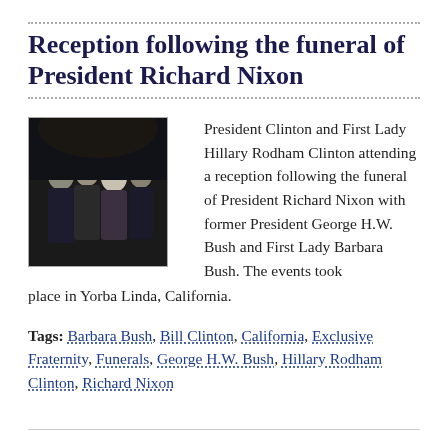Reception following the funeral of President Richard Nixon
[Figure (photo): Black and white photograph of President Clinton and First Lady Hillary Rodham Clinton with former President George H.W. Bush and First Lady Barbara Bush at a reception.]
President Clinton and First Lady Hillary Rodham Clinton attending a reception following the funeral of President Richard Nixon with former President George H.W. Bush and First Lady Barbara Bush. The events took place in Yorba Linda, California.
Tags: Barbara Bush, Bill Clinton, California, Exclusive Fraternity, Funerals, George H.W. Bush, Hillary Rodham Clinton, Richard Nixon